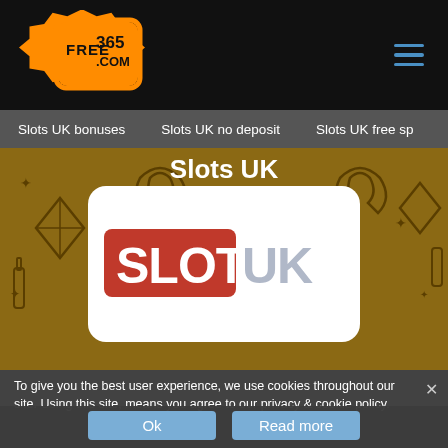[Figure (logo): Free365.com orange logo with arrows and badge shape in black header]
Slots UK bonuses   Slots UK no deposit   Slots UK free sp
Slots UK
[Figure (logo): Slots UK casino logo — SLOTS in red background, UK in metallic blue/silver with Union Jack colors, on white rounded card]
To give you the best user experience, we use cookies throughout our site. Using this site, means you agree to our privacy & cookie policy.
Ok   Read more